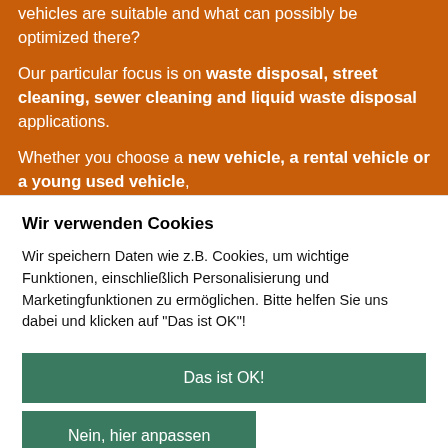vehicles are suitable and what can possibly be optimized there?
Our particular focus is on waste disposal, street cleaning, sewer cleaning and liquid waste disposal applications.
Whether you choose a new vehicle, a rental vehicle or a young used vehicle,
Wir verwenden Cookies
Wir speichern Daten wie z.B. Cookies, um wichtige Funktionen, einschließlich Personalisierung und Marketingfunktionen zu ermöglichen. Bitte helfen Sie uns dabei und klicken auf "Das ist OK"!
Das ist OK!
Nein, hier anpassen